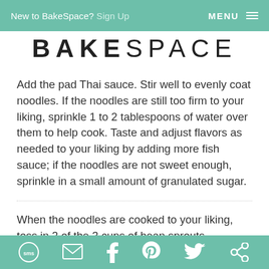New to BakeSpace? Sign Up   MENU
BAKESPACE
Add the pad Thai sauce. Stir well to evenly coat noodles. If the noodles are still too firm to your liking, sprinkle 1 to 2 tablespoons of water over them to help cook. Taste and adjust flavors as needed to your liking by adding more fish sauce; if the noodles are not sweet enough, sprinkle in a small amount of granulated sugar.
When the noodles are cooked to your liking, toss in 2 of the 3 cups of bean sprouts.
SMS Email Facebook Pinterest Twitter Other